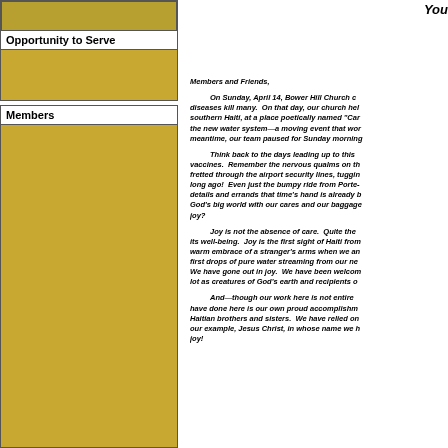Opportunity to Serve
Members
You
Members and Friends,
On Sunday, April 14, Bower Hill Church c... diseases kill many. On that day, our church hel... southern Haiti, at a place poetically named "Car... the new water system—a moving event that wor... meantime, our team paused for Sunday morning...
Think back to the days leading up to this... vaccines. Remember the nervous qualms on th... fretted through the airport security lines, tuggin... long ago! Even just the bumpy ride from Porte-... details and errands that time's hand is already b... God's big world with our cares and our baggage... joy?
Joy is not the absence of care. Quite the... its well-being. Joy is the first sight of Haiti from... warm embrace of a stranger's arms when we an... first drops of pure water streaming from our ne... We have gone out in joy. We have been welcom... lot as creatures of God's earth and recipients o...
And—though our work here is not entire... have done here is our own proud accomplishm... Haitian brothers and sisters. We have relied on... our example, Jesus Christ, in whose name we h... joy!